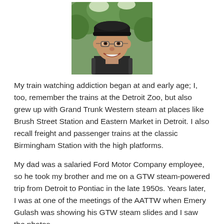[Figure (photo): Portrait photo of a middle-aged man wearing a black baseball cap and glasses, smiling, outdoors with green trees in background, carrying a backpack.]
My train watching addiction began at and early age; I, too, remember the trains at the Detroit Zoo, but also grew up with Grand Trunk Western steam at places like Brush Street Station and Eastern Market in Detroit. I also recall freight and passenger trains at the classic Birmingham Station with the high platforms.
My dad was a salaried Ford Motor Company employee, so he took my brother and me on a GTW steam-powered trip from Detroit to Pontiac in the late 1950s. Years later, I was at one of the meetings of the AATTW when Emery Gulash was showing his GTW steam slides and I saw the photos